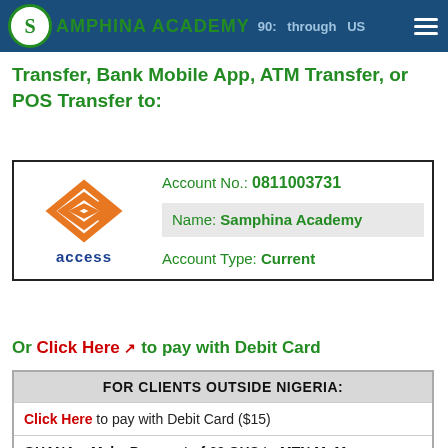Samphina Academy — through US Transfer, Bank Mobile App, ATM Transfer, or POS Transfer to:
Transfer, Bank Mobile App, ATM Transfer, or POS Transfer to:
|  | Account Info |
| --- | --- |
| [Access Bank Logo] | Account No.: 0811003731 |
|  | Name: Samphina Academy |
|  | Account Type: Current |
Or Click Here ↗ to pay with Debit Card
| FOR CLIENTS OUTSIDE NIGERIA: |
| --- |
| Click Here to pay with Debit Card ($15) |
| GHANA – Make Payment of 60 GHS to MTN MoMo |